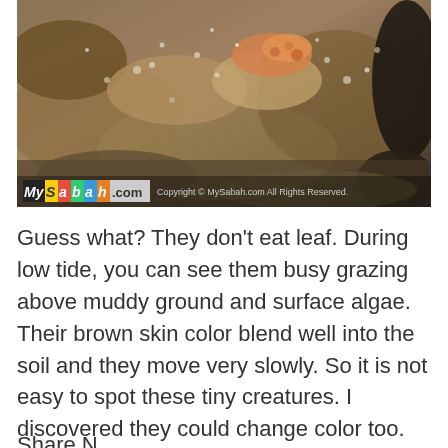[Figure (photo): Close-up photograph of mudskippers or small creatures camouflaged on muddy, wet ground with algae and rocks. MySabah.com watermark with copyright notice visible at bottom left of image.]
Guess what? They don't eat leaf. During low tide, you can see them busy grazing above muddy ground and surface algae. Their brown skin color blend well into the soil and they move very slowly. So it is not easy to spot these tiny creatures. I discovered they could change color too.
Share N...